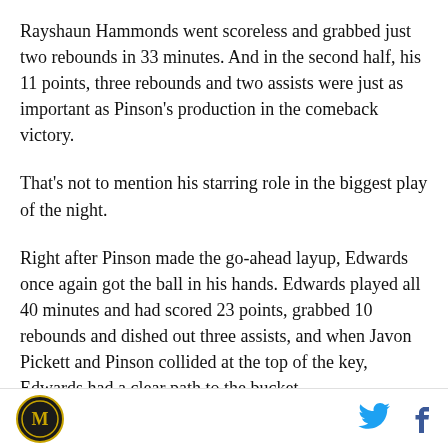Rayshaun Hammonds went scoreless and grabbed just two rebounds in 33 minutes. And in the second half, his 11 points, three rebounds and two assists were just as important as Pinson's production in the comeback victory.
That's not to mention his starring role in the biggest play of the night.
Right after Pinson made the go-ahead layup, Edwards once again got the ball in his hands. Edwards played all 40 minutes and had scored 23 points, grabbed 10 rebounds and dished out three assists, and when Javon Pickett and Pinson collided at the top of the key, Edwards had a clear path to the bucket.
[Figure (logo): Circular logo with letter M and gold border on black background]
[Figure (logo): Twitter bird icon in blue]
[Figure (logo): Facebook f icon in blue]